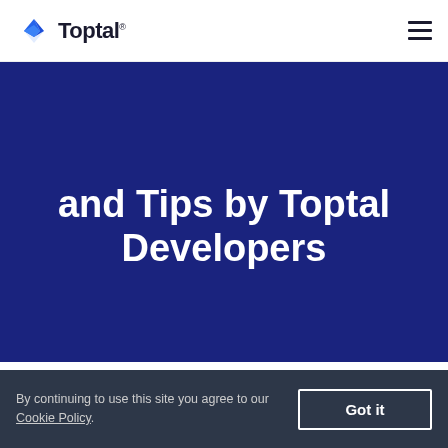Toptal
JavaScript Best Practices and Tips by Toptal Developers
1K SHARES
This resource contains a collection of JavaScript best
By continuing to use this site you agree to our Cookie Policy. Got it